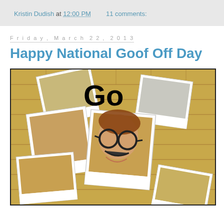Kristin Dudish at 12:00 PM    11 comments:
Friday, March 22, 2013
Happy National Goof Off Day
[Figure (photo): A collage of polaroid-style photos of a person wearing novelty glasses with a mustache, making silly faces. The word 'Go' appears in large bold text at the top of the image. Background shows a brick wall. Photos are overlapping and scattered.]